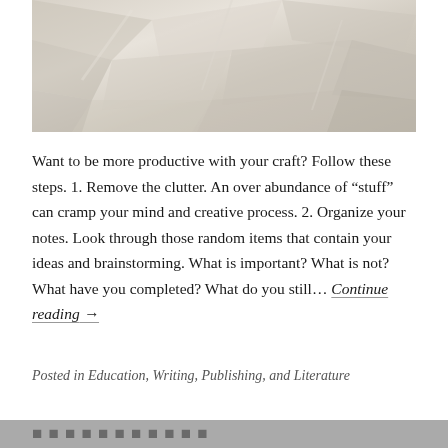[Figure (photo): Crumpled white/beige paper filling the frame, photographed from above in muted grayscale tones.]
Want to be more productive with your craft? Follow these steps. 1. Remove the clutter. An over abundance of "stuff" can cramp your mind and creative process. 2. Organize your notes. Look through those random items that contain your ideas and brainstorming. What is important? What is not? What have you completed? What do you still… Continue reading →
Posted in Education, Writing, Publishing, and Literature